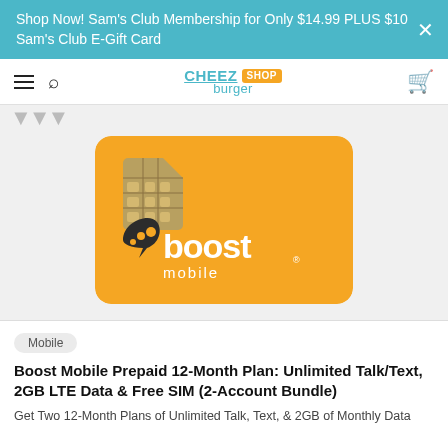Shop Now! Sam's Club Membership for Only $14.99 PLUS $10 Sam's Club E-Gift Card
[Figure (logo): Cheezburger Shop logo — CHEEZ in teal bold, burger in teal, SHOP in orange badge]
[Figure (photo): Boost Mobile SIM card on an orange card background with Boost Mobile logo in white and dark]
Mobile
Boost Mobile Prepaid 12-Month Plan: Unlimited Talk/Text, 2GB LTE Data & Free SIM (2-Account Bundle)
Get Two 12-Month Plans of Unlimited Talk, Text, & 2GB of Monthly Data